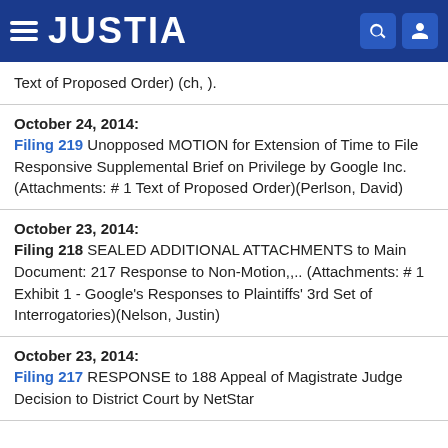JUSTIA
Text of Proposed Order) (ch, ).
October 24, 2014: Filing 219 Unopposed MOTION for Extension of Time to File Responsive Supplemental Brief on Privilege by Google Inc. (Attachments: # 1 Text of Proposed Order)(Perlson, David)
October 23, 2014: Filing 218 SEALED ADDITIONAL ATTACHMENTS to Main Document: 217 Response to Non-Motion,,.. (Attachments: # 1 Exhibit 1 - Google's Responses to Plaintiffs' 3rd Set of Interrogatories)(Nelson, Justin)
October 23, 2014: Filing 217 RESPONSE to 188 Appeal of Magistrate Judge Decision to District Court by NetStar